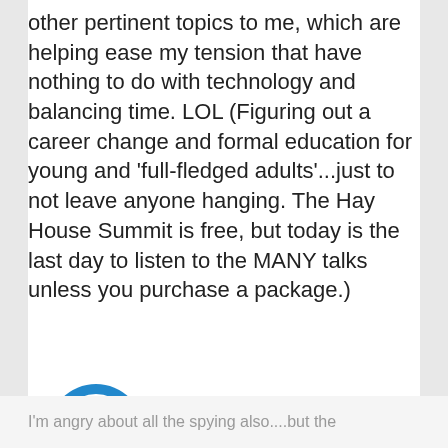other pertinent topics to me, which are helping ease my tension that have nothing to do with technology and balancing time. LOL (Figuring out a career change and formal education for young and 'full-fledged adults'...just to not leave anyone hanging. The Hay House Summit is free, but today is the last day to listen to the MANY talks unless you purchase a package.)
charissa says
I'm angry about all the spying also....but the